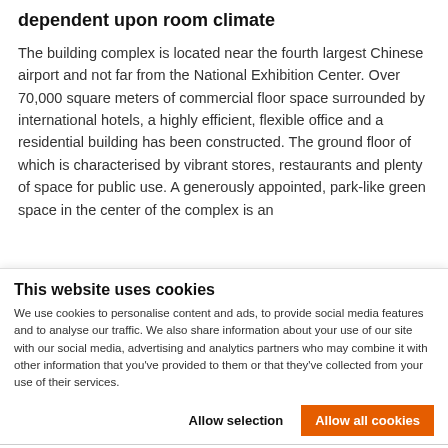dependent upon room climate
The building complex is located near the fourth largest Chinese airport and not far from the National Exhibition Center. Over 70,000 square meters of commercial floor space surrounded by international hotels, a highly efficient, flexible office and a residential building has been constructed. The ground floor of which is characterised by vibrant stores, restaurants and plenty of space for public use. A generously appointed, park-like green space in the center of the complex is an
This website uses cookies
We use cookies to personalise content and ads, to provide social media features and to analyse our traffic. We also share information about your use of our site with our social media, advertising and analytics partners who may combine it with other information that you've provided to them or that they've collected from your use of their services.
Allow selection | Allow all cookies
Necessary  Preferences  Statistics  Marketing  Show details